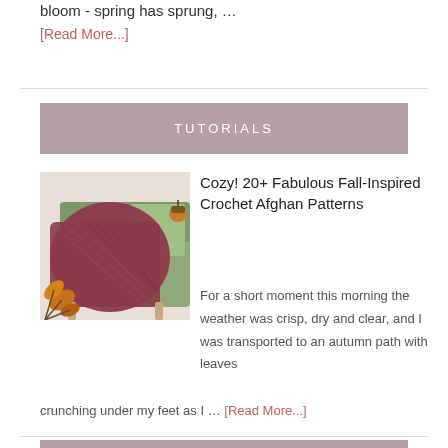bloom - spring has sprung, …
[Read More...]
TUTORIALS
[Figure (photo): A dark red/maroon crocheted afghan blanket draped over a light green sofa, with autumn leaf decorations visible in the lower left corner.]
Cozy! 20+ Fabulous Fall-Inspired Crochet Afghan Patterns
For a short moment this morning the weather was crisp, dry and clear, and I was transported to an autumn path with leaves crunching under my feet as I … [Read More...]